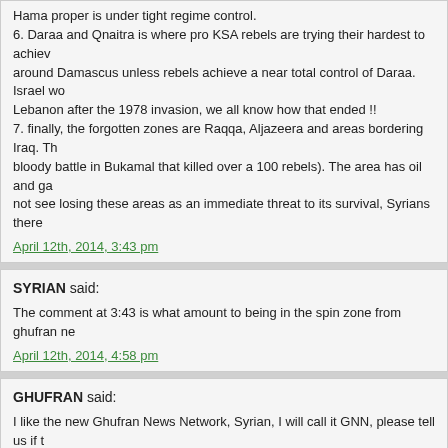Hama proper is under tight regime control.
6. Daraa and Qnaitra is where pro KSA rebels are trying their hardest to achieve... around Damascus unless rebels achieve a near total control of Daraa. Israel wo... Lebanon after the 1978 invasion, we all know how that ended !!
7. finally, the forgotten zones are Raqqa, Aljazeera and areas bordering Iraq. Th... bloody battle in Bukamal that killed over a 100 rebels). The area has oil and gas... not see losing these areas as an immediate threat to its survival, Syrians there...
April 12th, 2014, 3:43 pm
SYRIAN said:
The comment at 3:43 is what amount to being in the spin zone from ghufran ne...
April 12th, 2014, 4:58 pm
GHUFRAN said:
I like the new Ghufran News Network, Syrian, I will call it GNN, please tell us if t...
I also like Farzat's latest cartoon about Assad
http://www.alquds.co.uk/?p=155140
April 12th, 2014, 6:27 pm
JO6PAC said:
Thanks Alan for the time you spend knocking down what is said here that's not...
April 12th, 2014, 10:22 pm
SYRIAN said: